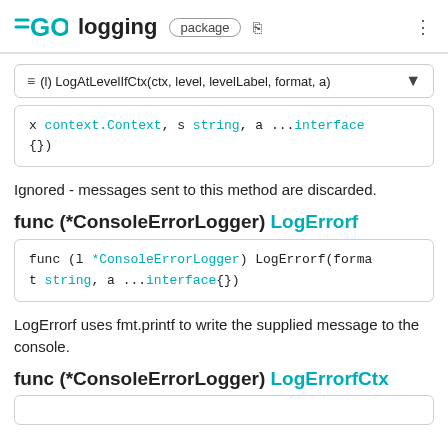GO logging package
(l) LogAtLevelIfCtx(ctx, level, levelLabel, format, a)
x context.Context, s string, a ...interface
{})
Ignored - messages sent to this method are discarded.
func (*ConsoleErrorLogger) LogErrorf
func (l *ConsoleErrorLogger) LogErrorf(forma
t string, a ...interface{})
LogErrorf uses fmt.printf to write the supplied message to the console.
func (*ConsoleErrorLogger) LogErrorfCtx